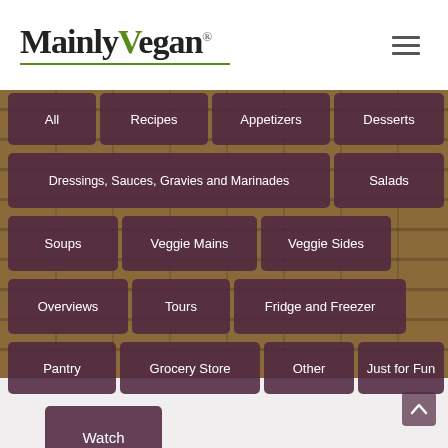[Figure (logo): MainlyVegan logo with green V and leaf, registered trademark symbol, green underline]
[Figure (infographic): Navigation menu buttons on brick background: All, Recipes, Appetizers, Desserts, Dressings Sauces Gravies and Marinades, Salads, Soups, Veggie Mains, Veggie Sides, Overviews, Tours, Fridge and Freezer, Pantry, Grocery Store, Other, Just for Fun, Watch]
All
Recipes
Appetizers
Desserts
Dressings, Sauces, Gravies and Marinades
Salads
Soups
Veggie Mains
Veggie Sides
Overviews
Tours
Fridge and Freezer
Pantry
Grocery Store
Other
Just for Fun
Watch